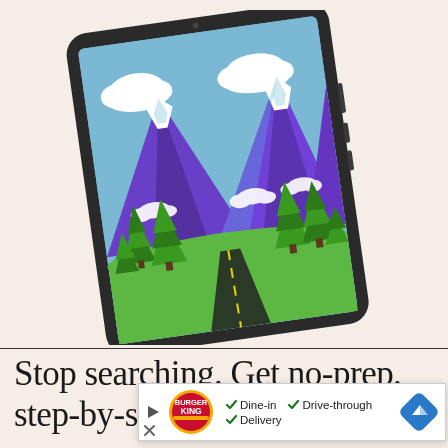[Figure (illustration): A tablet device (iPad-like) shown at a slight angle, displaying a colorful hand-drawn style illustration of a mountain landscape with purple mountains, snow-capped peaks, green pine trees, clouds, blue sky, and a winding road with a yellow center line in the foreground.]
Stop searching. Get no-prep, step-by-step art,
[Figure (infographic): Burger King ad banner showing the BK logo, checkmarks for Dine-in, Drive-through, and Delivery options, a play button icon on the left, an X icon at bottom left, and a blue navigation/directions icon on the right.]